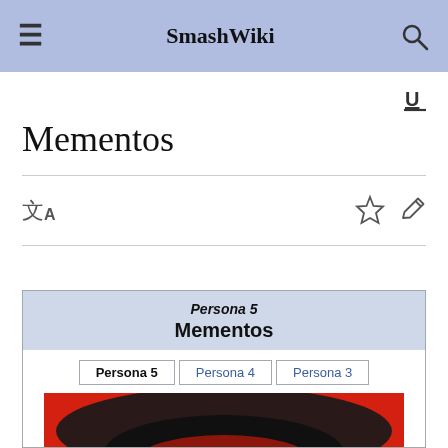SmashWiki
Mementos
[Figure (screenshot): SmashWiki mobile page for Mementos showing navigation bar, page title, toolbar with translate/star/edit icons, and an infobox card with Persona 5 game label, Mementos title, tab selectors (Persona 5, Persona 4, Persona 3), and a red-themed image of the Mementos stage.]